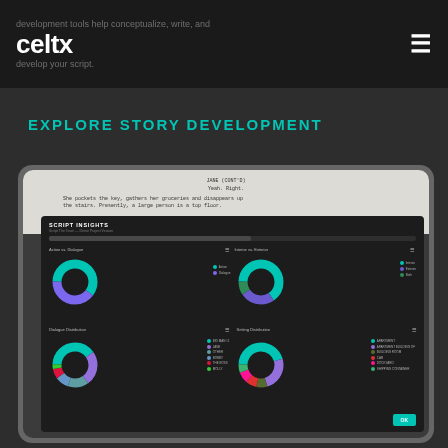development tools help conceptualize, write, and develop your script.
celtx
EXPLORE STORY DEVELOPMENT
[Figure (screenshot): Screenshot of Celtx app showing a script editor at the top with screenplay text, and below it a 'Script Insights' dark panel containing four donut charts: 'Action vs. Dialogue', 'Interior vs. Exterior', 'Dialogue Distribution', and 'Setting Distribution'.]